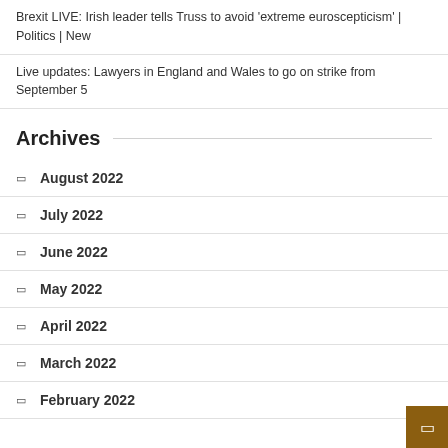Brexit LIVE: Irish leader tells Truss to avoid 'extreme euroscepticism' | Politics | New
Live updates: Lawyers in England and Wales to go on strike from September 5
Archives
August 2022
July 2022
June 2022
May 2022
April 2022
March 2022
February 2022